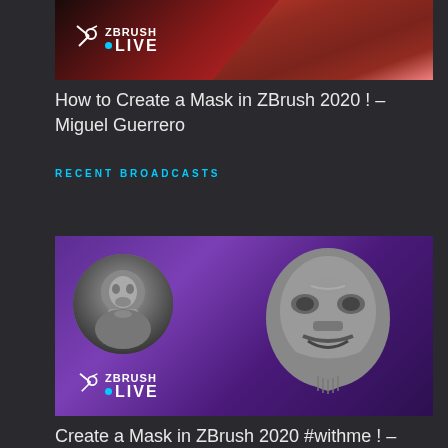[Figure (screenshot): ZBrush Live banner with logo on dark red/crimson background with fabric drape sculpt]
How to Create a Mask in ZBrush 2020 ! – Miguel Guerrero
RECENT BROADCASTS
[Figure (screenshot): ZBrush Live banner with purple gradient background showing a bald bearded man in circular portrait and a 3D sculpted monster/demon mask]
Create a Mask in ZBrush 2020 #withme ! – Miguel